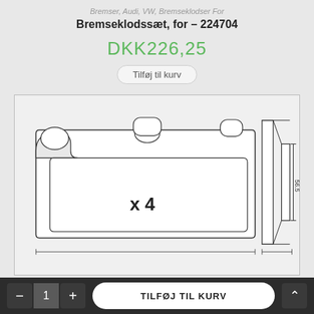Bremser, Audi, VW, Bremseklodser For
Bremseklodssæt, for – 224704
DKK226,25
Tilføj til kurv
[Figure (engineering-diagram): Technical engineering diagram of brake pads showing front view with x4 quantity indicator and side view with dimension 56.5mm height]
- 1 + TILFØJ TIL KURV ↑